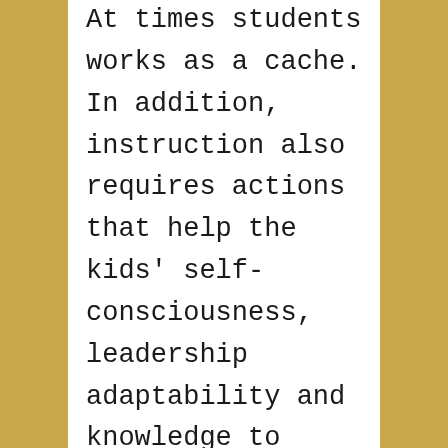At times students works as a cache. In addition, instruction also requires actions that help the kids' self-consciousness, leadership adaptability and knowledge to improve. These merge to increase the learner's possibility to advance and meet up with their own plans.
There are many varieties of instruction: exclusive instruction, class training, management teaching, functionality mentoring, range and cultural modify coaching, along with kinds of special teaching. An excellent private coach should be able to assistance any body